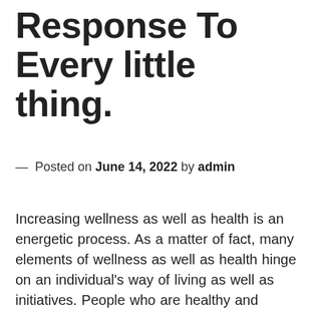Response To Every little thing.
— Posted on June 14, 2022 by admin
Increasing wellness as well as health is an energetic process. As a matter of fact, many elements of wellness as well as health hinge on an individual's way of living as well as initiatives. People who are healthy and balanced concentrate on prevention and maximizing their vitality by embracing healthy way of living behaviors. Along with physical health and wellness, wellness can also be attributed to psychological health. Below are some suggestions